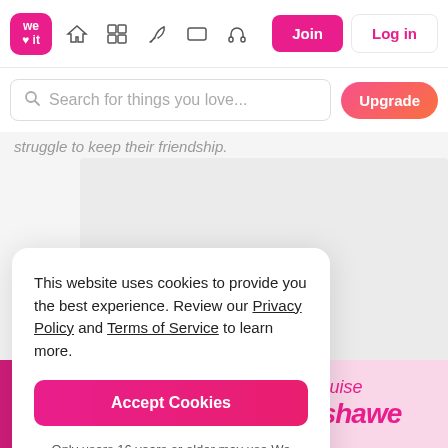[Figure (screenshot): We Heart It website navigation bar with logo, icons, Join and Log in buttons]
[Figure (screenshot): Search bar with placeholder 'Search for things you love...' and Upgrade button]
struggle to keep their friendship.
This website uses cookies to provide you the best experience. Review our Privacy Policy and Terms of Service to learn more.

Accept Cookies

Only users 16 years or older may use We Heart It.
[Figure (photo): Two book covers showing 'Bagshawe' and 'Louise Bagshawe' at the bottom of the page]